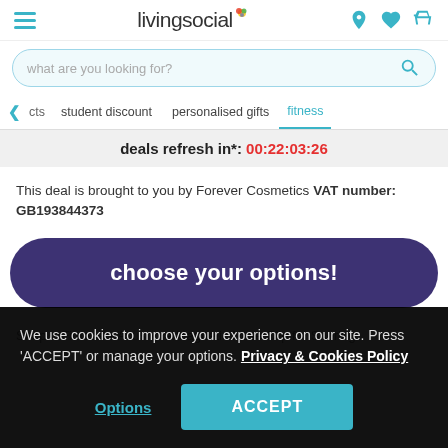[Figure (logo): LivingSocial logo with colorful dot and navigation icons (location pin, heart, cart) in teal]
[Figure (screenshot): Search bar with placeholder text 'what are you looking for?' and teal search icon]
< cts   student discount   personalised gifts   fitness
deals refresh in*: 00:22:03:26
This deal is brought to you by Forever Cosmetics VAT number: GB193844373
choose your options!
Shop > Fitness > Acusnore Magnetic Nose Clip for Snoring
We use cookies to improve your experience on our site. Press 'ACCEPT' or manage your options. Privacy & Cookies Policy
Options   ACCEPT